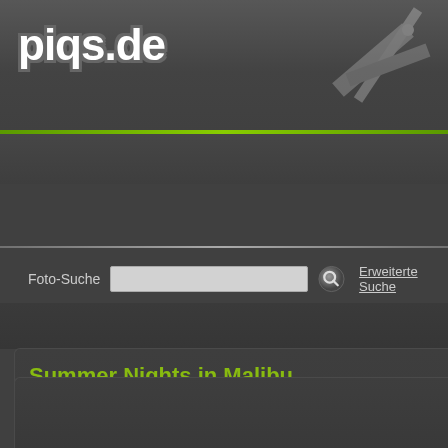piqs.de
Foto-Suche
Erweiterte Suche
Summer Nights in Malibu
Fun-Produkte  Foto-Infos  EXIF-Infos
Kommentare/Bewertungen
Kommentare anzeigen/verfassen